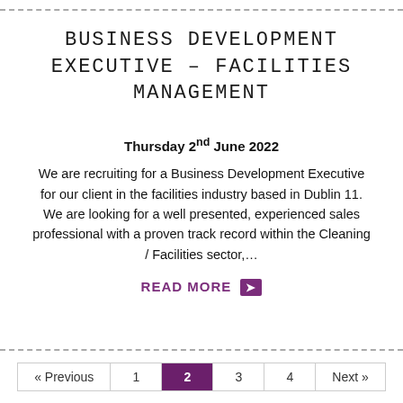BUSINESS DEVELOPMENT EXECUTIVE – FACILITIES MANAGEMENT
Thursday 2nd June 2022
We are recruiting for a Business Development Executive for our client in the facilities industry based in Dublin 11. We are looking for a well presented, experienced sales professional with a proven track record within the Cleaning / Facilities sector,…
READ MORE ▶
« Previous  1  2  3  4  Next »